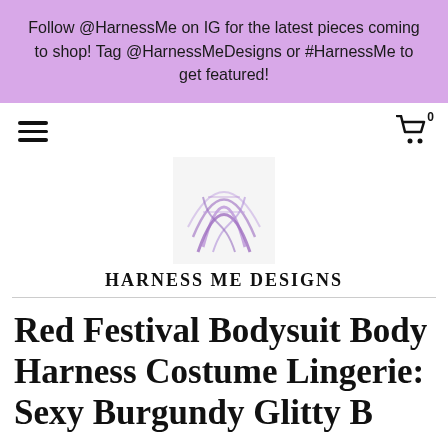Follow @HarnessMe on IG for the latest pieces coming to shop! Tag @HarnessMeDesigns or #HarnessMe to get featured!
[Figure (logo): Harness Me Designs logo — abstract purple harness straps illustration on white background]
HARNESS ME DESIGNS
Red Festival Bodysuit Body Harness Costume Lingerie: Sexy Burgundy Glitty Bodysuit Wing Red D...